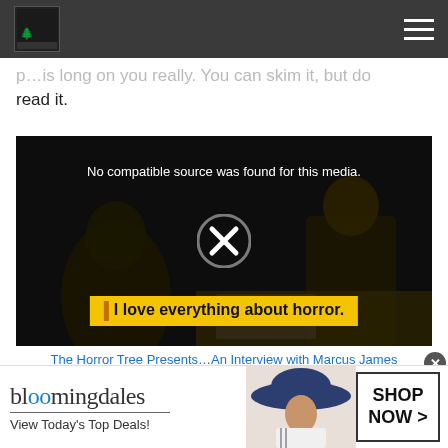The Horror Tree – navigation bar with logo and hamburger menu
read it.
[Figure (screenshot): Video player showing a dark scene with a person wearing glasses and scarf, overlaid with the text 'No compatible source was found for this media.' and a circular X icon in the center, and a yellow caption bar reading 'I love everything about horror.']
The Horror Tree Presents…An Interview with Marcus James
[Figure (other): Bloomingdale's advertisement banner with logo, tagline 'View Today's Top Deals!', a woman in a blue sun hat, and a 'SHOP NOW >' button.]